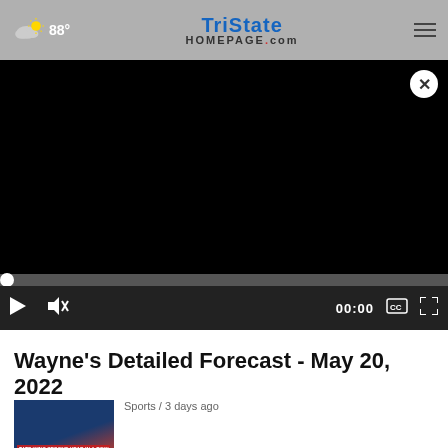88° | TristateHomepage.com
[Figure (screenshot): Video player showing black screen with play/mute controls, 00:00 timestamp, CC and fullscreen buttons, and a progress bar]
Wayne's Detailed Forecast - May 20, 2022
Sports / 3 days ago